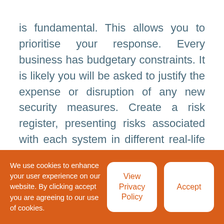is fundamental. This allows you to prioritise your response. Every business has budgetary constraints. It is likely you will be asked to justify the expense or disruption of any new security measures. Create a risk register, presenting risks associated with each system in different real-life scenarios such as human error, software failures, fires, internet outages etc. I find the scenario-based approach to be most persuasive as it explains to non-technical board members that it is not just about “hackers”.
We use cookies to enhance your user experience on our website. By clicking accept you are agreeing to our use of cookies.
View Privacy Policy
Accept